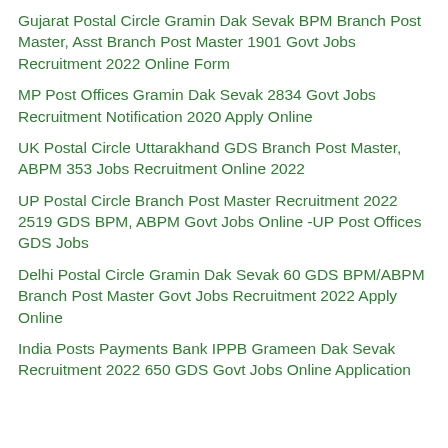Gujarat Postal Circle Gramin Dak Sevak BPM Branch Post Master, Asst Branch Post Master 1901 Govt Jobs Recruitment 2022 Online Form
MP Post Offices Gramin Dak Sevak 2834 Govt Jobs Recruitment Notification 2020 Apply Online
UK Postal Circle Uttarakhand GDS Branch Post Master, ABPM 353 Jobs Recruitment Online 2022
UP Postal Circle Branch Post Master Recruitment 2022 2519 GDS BPM, ABPM Govt Jobs Online -UP Post Offices GDS Jobs
Delhi Postal Circle Gramin Dak Sevak 60 GDS BPM/ABPM Branch Post Master Govt Jobs Recruitment 2022 Apply Online
India Posts Payments Bank IPPB Grameen Dak Sevak Recruitment 2022 650 GDS Govt Jobs Online Application